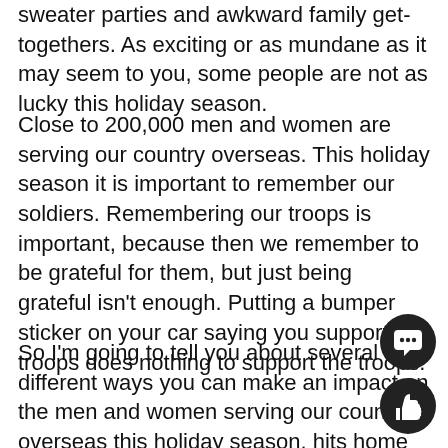sweater parties and awkward family get-togethers. As exciting or as mundane as it may seem to you, some people are not as lucky this holiday season.
Close to 200,000 men and women are serving our country overseas. This holiday season it is important to remember our soldiers. Remembering our troops is important, because then we remember to be grateful for them, but just being grateful isn't enough. Putting a bumper sticker on your car saying you support the troops does nothing to support the troops.
So I'm going to tell you about several different ways you can make an impact on the men and women serving our country overseas this holiday season. hits home for me because my boyfriend has been stationed overseas for the past seven months and won't be able to celebrate the holidays at home.